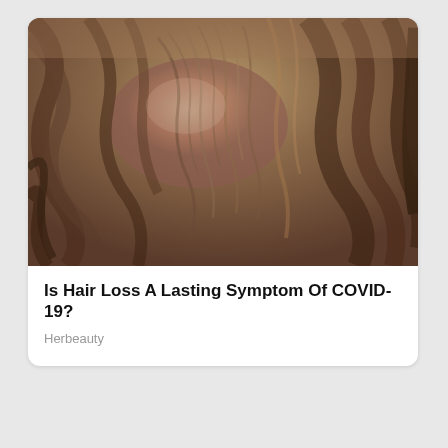[Figure (photo): Close-up photograph of the top of a person's head showing thinning hair and hair loss, with brown hair and visible scalp.]
Is Hair Loss A Lasting Symptom Of COVID-19?
Herbeauty